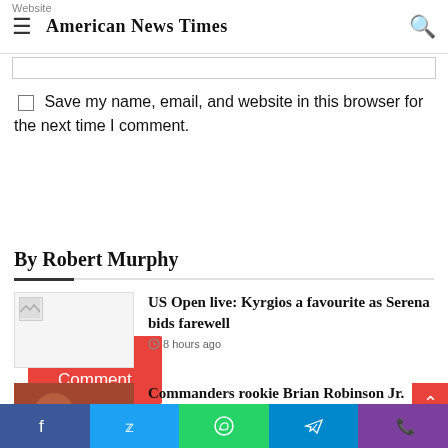American News Times
Save my name, email, and website in this browser for the next time I comment.
Post Comment
By Robert Murphy
US Open live: Kyrgios a favourite as Serena bids farewell
8 hours ago
Commanders rookie Brian Robinson Jr. shot multiple times in attempted robbery.